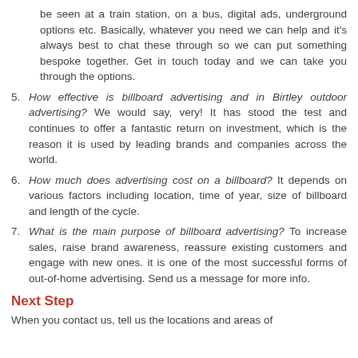be seen at a train station, on a bus, digital ads, underground options etc. Basically, whatever you need we can help and it's always best to chat these through so we can put something bespoke together. Get in touch today and we can take you through the options.
5. How effective is billboard advertising and in Birtley outdoor advertising? We would say, very! It has stood the test and continues to offer a fantastic return on investment, which is the reason it is used by leading brands and companies across the world.
6. How much does advertising cost on a billboard? It depends on various factors including location, time of year, size of billboard and length of the cycle.
7. What is the main purpose of billboard advertising? To increase sales, raise brand awareness, reassure existing customers and engage with new ones. it is one of the most successful forms of out-of-home advertising. Send us a message for more info.
Next Step
When you contact us, tell us the locations and areas of